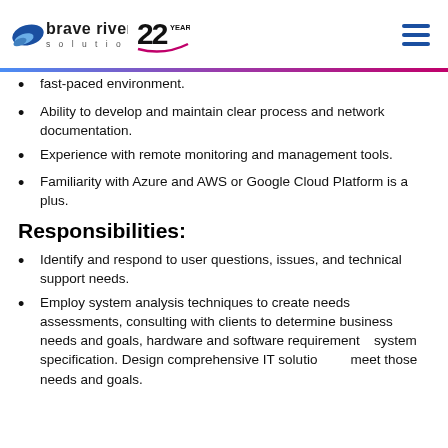Brave River Solutions — 22 Years
fast-paced environment.
Ability to develop and maintain clear process and network documentation.
Experience with remote monitoring and management tools.
Familiarity with Azure and AWS or Google Cloud Platform is a plus.
Responsibilities:
Identify and respond to user questions, issues, and technical support needs.
Employ system analysis techniques to create needs assessments, consulting with clients to determine business needs and goals, hardware and software requirements, system specification. Design comprehensive IT solutions to meet those needs and goals.